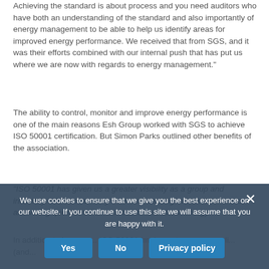Achieving the standard is about process and you need auditors who have both an understanding of the standard and also importantly of energy management to be able to help us identify areas for improved energy performance. We received that from SGS, and it was their efforts combined with our internal push that has put us where we are now with regards to energy management."
The ability to control, monitor and improve energy performance is one of the main reasons Esh Group worked with SGS to achieve ISO 50001 certification. But Simon Parks outlined other benefits of the association.
“ISO 50001 has given us a greater visibility as a group and internally. We can certainly hold our head high when it comes to answering questions from our customers about energy
In addition to im... ISO 50001 implements pro... compli... (and...
We use cookies to ensure that we give you the best experience on our website. If you continue to use this site we will assume that you are happy with it.